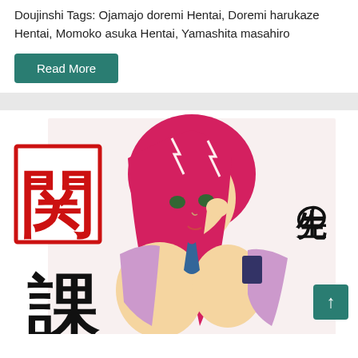Doujinshi Tags: Ojamajo doremi Hentai, Doremi harukaze Hentai, Momoko asuka Hentai, Yamashita masahiro
Read More
[Figure (illustration): Manga/anime style illustration of a woman with long red/pink hair wearing a purple outfit. Large Japanese kanji characters visible: 関 (left, red outlined box), 先生の (right side, black), 課 (bottom left, black). A teal scroll-to-top button with upward arrow is in the bottom right corner.]